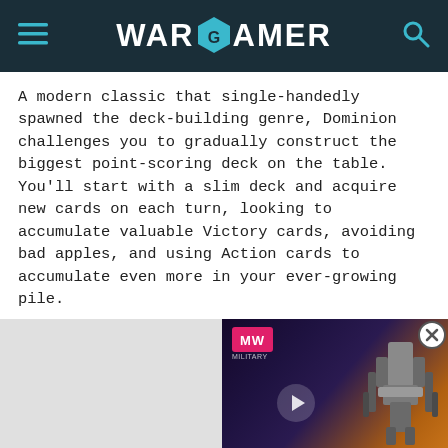WARGAMER
A modern classic that single-handedly spawned the deck-building genre, Dominion challenges you to gradually construct the biggest point-scoring deck on the table. You'll start with a slim deck and acquire new cards on each turn, looking to accumulate valuable Victory cards, avoiding bad apples, and using Action cards to accumulate even more in your ever-growing pile.
[Figure (screenshot): Advertisement overlay showing 'Distant Worlds 2 Steam Launch' with MW logo on dark space background with spacecraft, and a close button (X) in top right corner.]